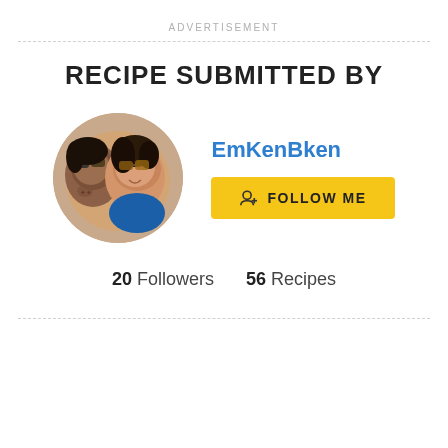ADVERTISEMENT
RECIPE SUBMITTED BY
[Figure (photo): Circular profile photo of two people wearing sunglasses, smiling closely together outdoors]
EmKenBken
FOLLOW ME
20 Followers   56 Recipes